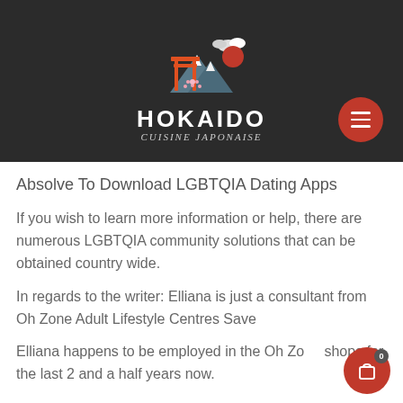[Figure (logo): Hokaido Cuisine Japonaise logo with torii gate, mountains, clouds, sun, and cherry blossom on dark background with hamburger menu button]
Absolve To Download LGBTQIA Dating Apps
If you wish to learn more information or help, there are numerous LGBTQIA community solutions that can be obtained country wide.
In regards to the writer: Elliana is just a consultant from Oh Zone Adult Lifestyle Centres Save
Elliana happens to be employed in the Oh Zone shops for the last 2 and a half years now.